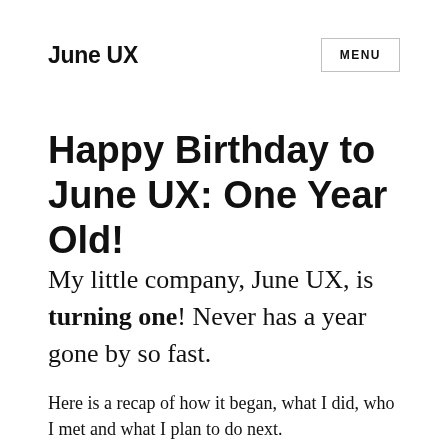June UX
MENU
Happy Birthday to June UX: One Year Old!
My little company, June UX, is turning one! Never has a year gone by so fast.
Here is a recap of how it began, what I did, who I met and what I plan to do next.